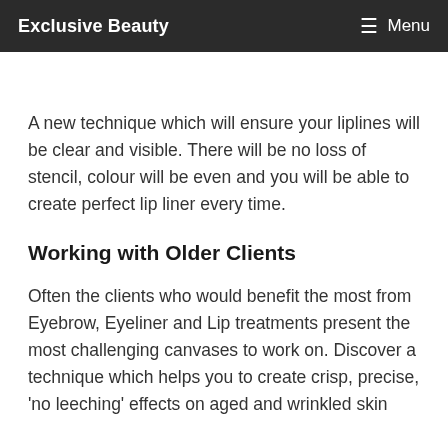Exclusive Beauty | Menu
A new technique which will ensure your liplines will be clear and visible. There will be no loss of stencil, colour will be even and you will be able to create perfect lip liner every time.
Working with Older Clients
Often the clients who would benefit the most from Eyebrow, Eyeliner and Lip treatments present the most challenging canvases to work on. Discover a technique which helps you to create crisp, precise, 'no leeching' effects on aged and wrinkled skin